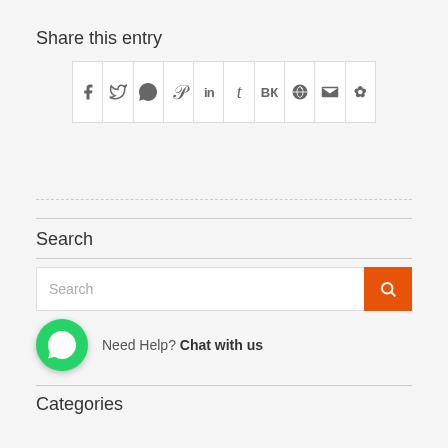Share this entry
[Figure (infographic): Social sharing icons grid: Facebook, Twitter, WhatsApp, Pinterest, LinkedIn, Tumblr, VK, Reddit, Email, Yelp]
Search
[Figure (screenshot): Search input field with orange search button]
[Figure (infographic): WhatsApp chat widget: green WhatsApp icon with text 'Need Help? Chat with us']
Categories